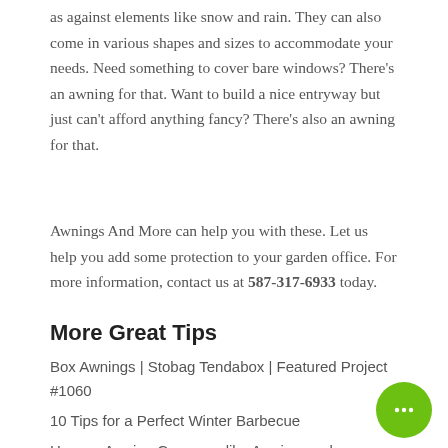as against elements like snow and rain. They can also come in various shapes and sizes to accommodate your needs. Need something to cover bare windows? There's an awning for that. Want to build a nice entryway but just can't afford anything fancy? There's also an awning for that.
Awnings And More can help you with these. Let us help you add some protection to your garden office. For more information, contact us at 587-317-6933 today.
More Great Tips
Box Awnings | Stobag Tendabox | Featured Project #1060
10 Tips for a Perfect Winter Barbecue
How an Awning Company like Awningsandmore Can